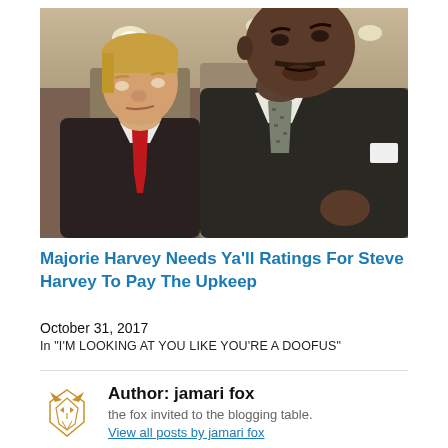[Figure (photo): Two men in suits standing together — one with light skin and blond hair with a red tie, one with dark skin and a gray patterned tie, photographed in what appears to be a lobby with warm lighting.]
Majorie Harvey Needs Ya'll Ratings For Steve Harvey To Pay The Upkeep
October 31, 2017
In "I'M LOOKING AT YOU LIKE YOU'RE A DOOFUS"
Author: jamari fox
the fox invited to the blogging table.
View all posts by jamari fox